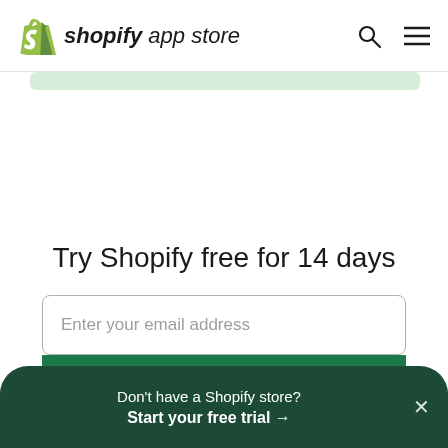shopify app store
[Figure (screenshot): Partial green rounded banner visible below header]
Try Shopify free for 14 days
[Figure (screenshot): Email input field with placeholder text 'Enter your email address' and a green start button below]
Don't have a Shopify store? Start your free trial →